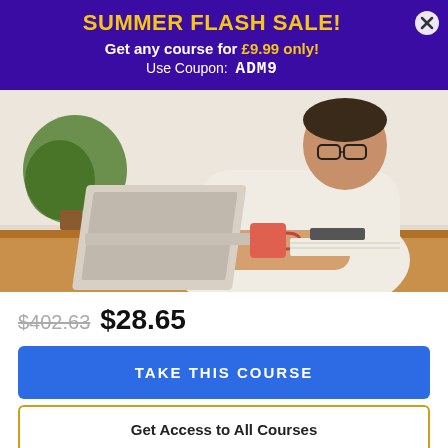SUMMER FLASH SALE!
Get any course for £9.99 only!
Use Coupon: ADM9
[Figure (photo): Young man with glasses sitting at a wooden table working on a laptop, with a coffee mug and notebook on the desk, and a plant in the background against a white brick wall.]
$402.63 $28.65
TAKE THIS COURSE
Get Access to All Courses